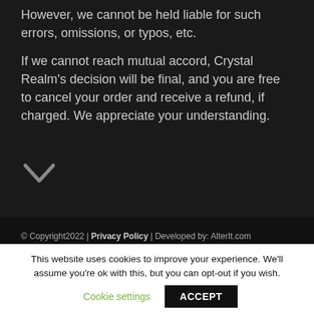However, we cannot be held liable for such errors, omissions, or typos, etc.
If we cannot reach mutual accord, Crystal Realm's decision will be final, and you are free to cancel your order and receive a refund, if charged. We appreciate your understanding.
[Figure (other): Chevron/down arrow icon in dark gray]
© Copyright2022 | Privacy Policy | Developed by: AlterIt.com
[Figure (infographic): Payment method logos: VISA, MasterCard, American Express, Discover Network]
This website uses cookies to improve your experience. We'll assume you're ok with this, but you can opt-out if you wish. Cookie settings   ACCEPT